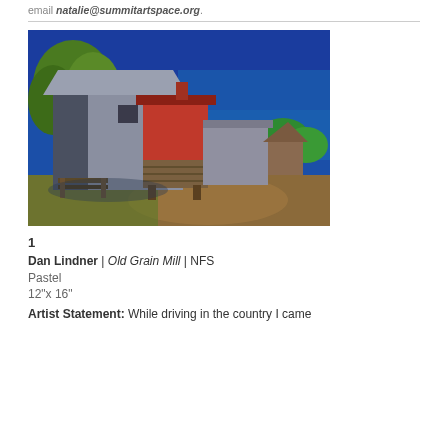email natalie@summitartspace.org.
[Figure (illustration): Pastel painting of an old grain mill building with red silo section, weathered wood, blue sky, green trees]
1
Dan Lindner | Old Grain Mill | NFS
Pastel
12"x 16"
Artist Statement: While driving in the country I came